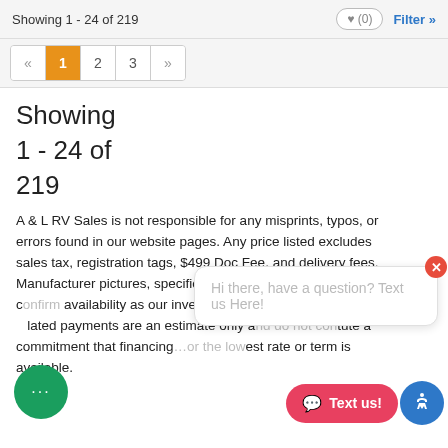Showing 1 - 24 of 219
Showing
1 - 24 of
219
A & L RV Sales is not responsible for any misprints, typos, or errors found in our website pages. Any price listed excludes sales tax, registration tags, $499 Doc Fee, and delivery fees. Manufacturer pictures, specifications and features may not represent actual units on our lot. Please confirm availability as our inventory changes rapidly. All calculated payments are an estimate only and do not constitute a commitment that financing or the lowest rate or term is available.